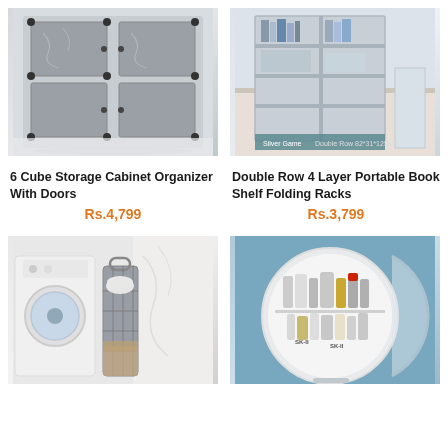[Figure (photo): 6 Cube Storage Cabinet Organizer with dark patterned doors, gray plastic panels]
[Figure (photo): Double Row 4 Layer Portable Book Shelf Folding Racks, white/gray bookshelf with books]
6 Cube Storage Cabinet Organizer With Doors
Rs.4,799
Double Row 4 Layer Portable Book Shelf Folding Racks
Rs.3,799
[Figure (photo): Laundry basket hanging on wall next to washing machine]
[Figure (photo): Round wall-mounted cosmetic/toiletry storage cabinet with mirror door, SK-II products inside]